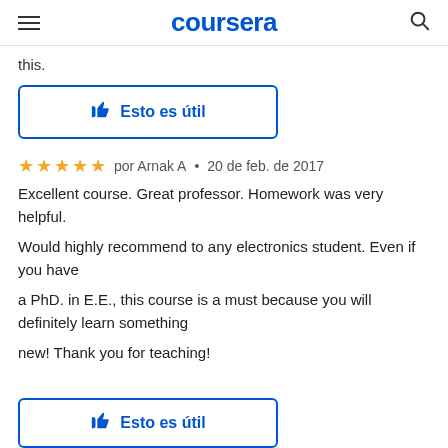coursera
this.
[Figure (other): Esto es útil button with thumbs up icon, blue border]
★★★★★  por Arnak A  •  20 de feb. de 2017
Excellent course. Great professor. Homework was very helpful.

Would highly recommend to any electronics student. Even if you have

a PhD. in E.E., this course is a must because you will definitely learn something

new! Thank you for teaching!
[Figure (other): Esto es útil button with thumbs up icon, blue border (partially visible at bottom)]